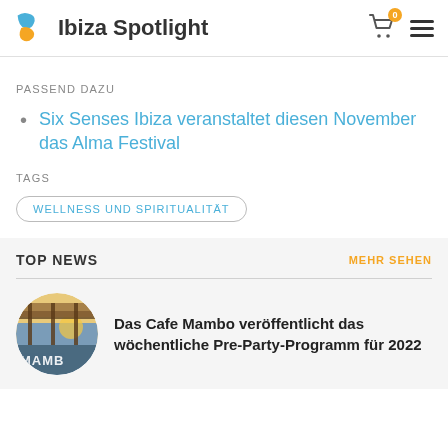Ibiza Spotlight
PASSEND DAZU
Six Senses Ibiza veranstaltet diesen November das Alma Festival
TAGS
WELLNESS UND SPIRITUALITÄT
TOP NEWS
MEHR SEHEN
[Figure (photo): Circular thumbnail photo of Cafe Mambo venue with a sign and sunset background]
Das Cafe Mambo veröffentlicht das wöchentliche Pre-Party-Programm für 2022